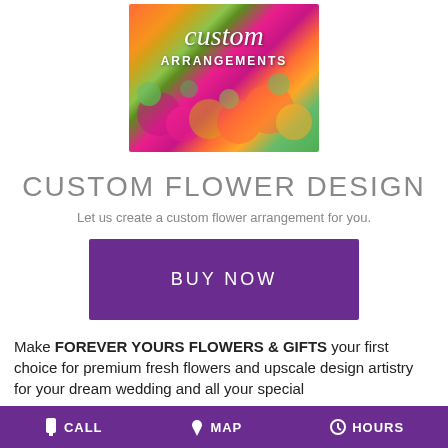[Figure (photo): Colorful flower arrangement with orange, pink, purple, and green flowers with text overlay reading 'custom ARRANGEMENTS']
CUSTOM FLOWER DESIGN
Let us create a custom flower arrangement for you.
[Figure (other): Purple 'BUY NOW' button]
Make FOREVER YOURS FLOWERS & GIFTS your first choice for premium fresh flowers and upscale design artistry for your dream wedding and all your special
CALL   MAP   HOURS